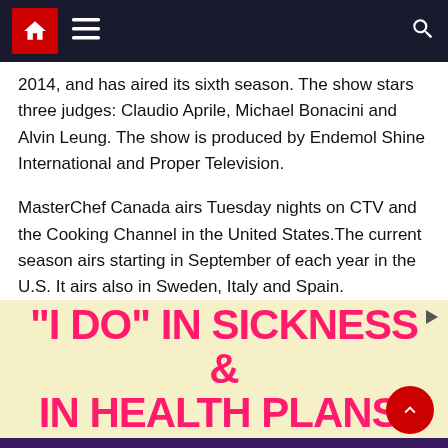Navigation bar with home, menu, and search icons
2014, and has aired its sixth season. The show stars three judges: Claudio Aprile, Michael Bonacini and Alvin Leung. The show is produced by Endemol Shine International and Proper Television.
MasterChef Canada airs Tuesday nights on CTV and the Cooking Channel in the United States.The current season airs starting in September of each year in the U.S. It airs also in Sweden, Italy and Spain.
[Figure (other): Advertisement banner with yellow background and hot pink bold text reading: "I DO" IN SICKNESS & IN HEALTH PLANS.]